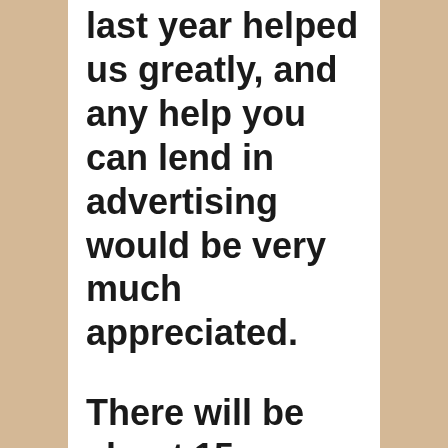last year helped us greatly, and any help you can lend in advertising would be very much appreciated.
There will be about 15 performers from all over the country performing only the music of Tori Amos on a Bosendorfer and